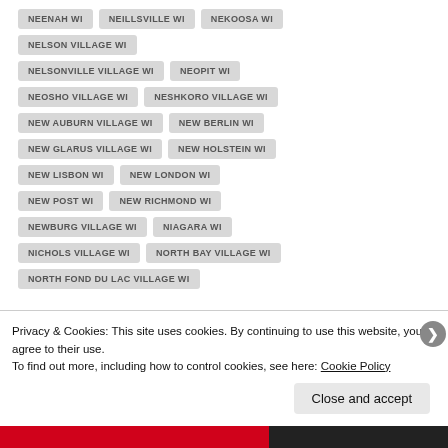NEENAH WI
NEILLSVILLE WI
NEKOOSA WI
NELSON VILLAGE WI
NELSONVILLE VILLAGE WI
NEOPIT WI
NEOSHO VILLAGE WI
NESHKORO VILLAGE WI
NEW AUBURN VILLAGE WI
NEW BERLIN WI
NEW GLARUS VILLAGE WI
NEW HOLSTEIN WI
NEW LISBON WI
NEW LONDON WI
NEW POST WI
NEW RICHMOND WI
NEWBURG VILLAGE WI
NIAGARA WI
NICHOLS VILLAGE WI
NORTH BAY VILLAGE WI
NORTH FOND DU LAC VILLAGE WI
Privacy & Cookies: This site uses cookies. By continuing to use this website, you agree to their use.
To find out more, including how to control cookies, see here: Cookie Policy